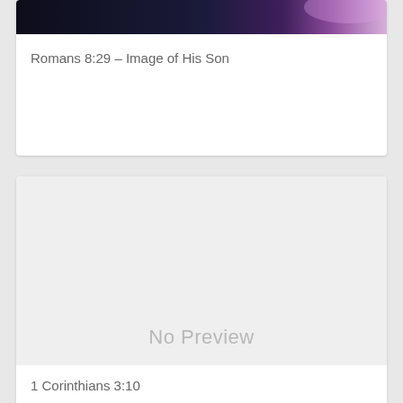[Figure (photo): Dark night sky image with purple/pink glow on right side, thumbnail at top of first card]
Romans 8:29 – Image of His Son
[Figure (other): No Preview placeholder area with light gray background]
1 Corinthians 3:10